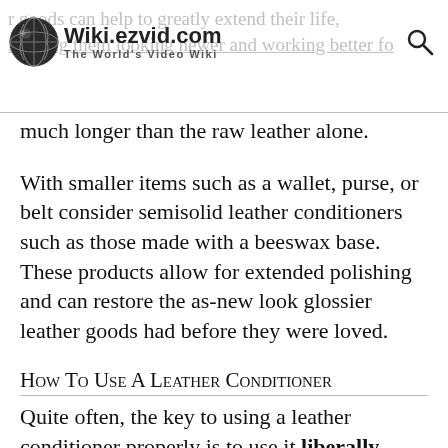Wiki.ezvid.com — The World's Video Wiki
much longer than the raw leather alone.
With smaller items such as a wallet, purse, or belt consider semisolid leather conditioners such as those made with a beeswax base. These products allow for extended polishing and can restore the as-new look glossier leather goods had before they were loved.
How To Use A Leather Conditioner
Quite often, the key to using a leather conditioner properly is to use it liberally. Most formulas are designed to be applied all over the surface of the garment, accessory, or upholstery in question, not